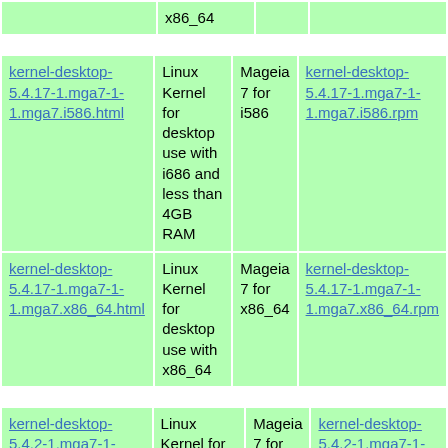|  | x86_64 |  |  |
| kernel-desktop-5.4.17-1.mga7-1-1.mga7.i586.html | Linux Kernel for desktop use with i686 and less than 4GB RAM | Mageia 7 for i586 | kernel-desktop-5.4.17-1.mga7-1-1.mga7.i586.rpm |
| kernel-desktop-5.4.17-1.mga7-1-1.mga7.x86_64.html | Linux Kernel for desktop use with x86_64 | Mageia 7 for x86_64 | kernel-desktop-5.4.17-1.mga7-1-1.mga7.x86_64.rpm |
| kernel-desktop-5.4.2-1.mga7-1-1.mga7.i586.html | Linux Kernel for desktop use with i686 and less than 4GB RAM | Mageia 7 for i586 | kernel-desktop-5.4.2-1.mga7-1-1.mga7.i586.rpm |
| kernel-desktop-5.4.2- | Linux Kernel for | Mageia | kernel-desktop-5.4.2- |